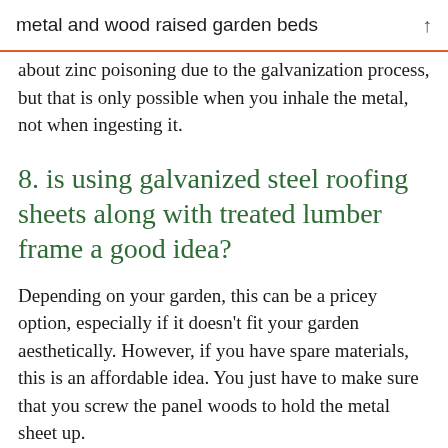metal and wood raised garden beds
about zinc poisoning due to the galvanization process, but that is only possible when you inhale the metal, not when ingesting it.
8. is using galvanized steel roofing sheets along with treated lumber frame a good idea?
Depending on your garden, this can be a pricey option, especially if it doesn’t fit your garden aesthetically. However, if you have spare materials, this is an affordable idea. You just have to make sure that you screw the panel woods to hold the metal sheet up.